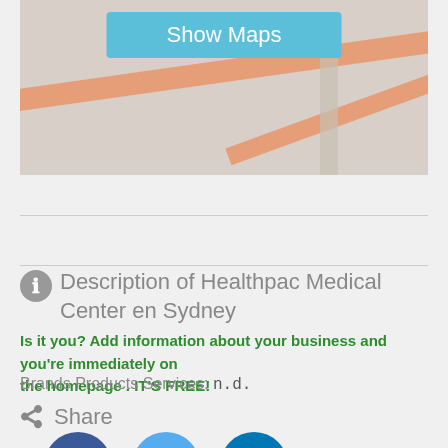[Figure (map): Blurred street map background with orange road overlays and a 'Show Maps' button overlay]
Description of Healthpac Medical Center en Sydney
Is it you? Add information about your business and you're immediately on the homepage . IT'S FREE!
Brands Products Services: n.d.
Share
[Figure (illustration): Social media icons: Facebook (dark blue circle with f), Twitter (light blue circle with bird), LinkedIn (dark teal circle with in)]